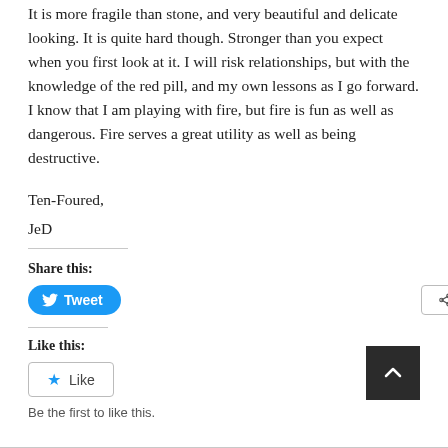It is more fragile than stone, and very beautiful and delicate looking. It is quite hard though. Stronger than you expect when you first look at it. I will risk relationships, but with the knowledge of the red pill, and my own lessons as I go forward. I know that I am playing with fire, but fire is fun as well as dangerous. Fire serves a great utility as well as being destructive.
Ten-Foured,
JeD
Share this:
[Figure (screenshot): Tweet button (blue rounded) and More button (outlined)]
Like this:
[Figure (screenshot): Like button with star icon]
Be the first to like this.